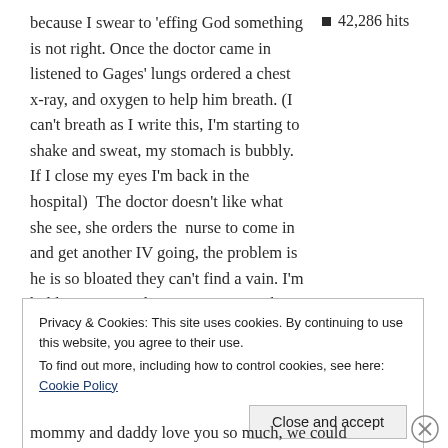because I swear to 'effing God something is not right. Once the doctor came in listened to Gages' lungs ordered a chest x-ray, and oxygen to help him breath. (I can't breath as I write this, I'm starting to shake and sweat, my stomach is bubbly. If I close my eyes I'm back in the hospital)  The doctor doesn't like what she see, she orders the  nurse to come in and get another IV going, the problem is he is so bloated they can't find a vain. I'm holding Gage at this point  trying to keep him calm as they poke and re-poke him, FUCKING VAIN!!!  My sisters are back they are in the
42,286 hits
Privacy & Cookies: This site uses cookies. By continuing to use this website, you agree to their use.
To find out more, including how to control cookies, see here: Cookie Policy
Close and accept
mommy and daddy love you so much, we could